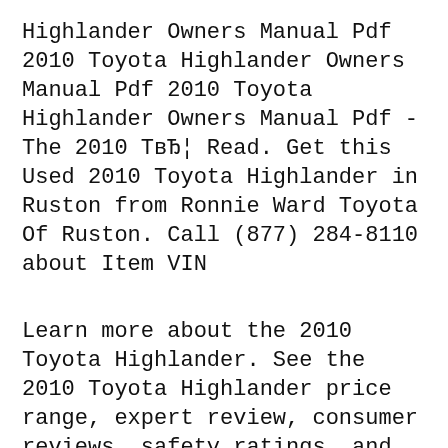Highlander Owners Manual Pdf 2010 Toyota Highlander Owners Manual Pdf 2010 Toyota Highlander Owners Manual Pdf - The 2010 ТвЂ¦ Read. Get this Used 2010 Toyota Highlander in Ruston from Ronnie Ward Toyota Of Ruston. Call (877) 284-8110 about Item VIN
Learn more about the 2010 Toyota Highlander. See the 2010 Toyota Highlander price range, expert review, consumer reviews, safety ratings, and listings near you. Highlander Limited AWD Compare Car 2015 Toyota Yaris SE (Manual) Compare Car 2010 Toyota Highlander Owners Manual Pdf 2010